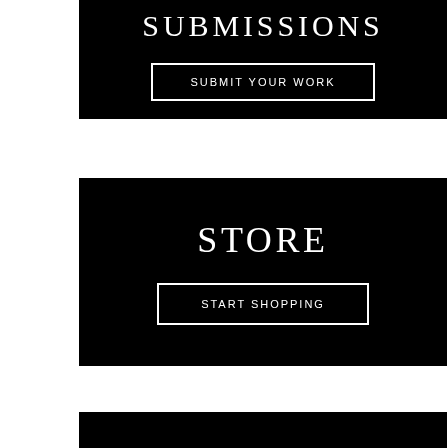[Figure (infographic): Black banner partially visible at top, showing 'SUBMISSIONS' text (cropped) and a 'SUBMIT YOUR WORK' button with white outline border on black background]
[Figure (infographic): Black banner in the middle showing 'STORE' title and a 'START SHOPPING' button with white outline border on black background]
[Figure (infographic): Black banner partially visible at bottom, showing 'SUBSCRIPTIONS' text (cropped) on black background]